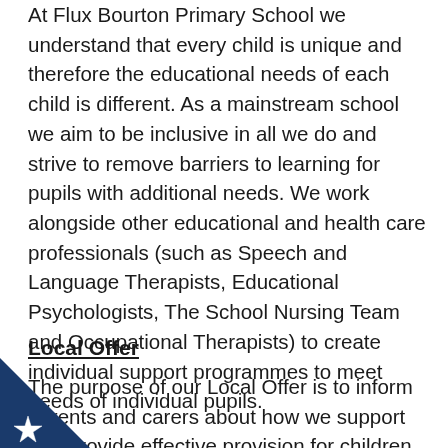At Flux Bourton Primary School we understand that every child is unique and therefore the educational needs of each child is different. As a mainstream school we aim to be inclusive in all we do and strive to remove barriers to learning for pupils with additional needs. We work alongside other educational and health care professionals (such as Speech and Language Therapists, Educational Psychologists, The School Nursing Team and Occupational Therapists) to create individual support programmes to meet needs of individual pupils.
Local Offer
The purpose of our Local Offer is to inform parents and carers about how we support and provide effective provision for children with Special
[Figure (logo): Blue triangle badge with white cogwheel/star icon in bottom-left corner of page]